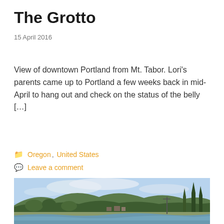The Grotto
15 April 2016
View of downtown Portland from Mt. Tabor. Lori's parents came up to Portland a few weeks back in mid-April to hang out and check on the status of the belly […]
Oregon, United States
Leave a comment
[Figure (photo): Outdoor landscape photo showing a river in the foreground with trees, hills, and a small town visible in the background under a partly cloudy blue sky.]